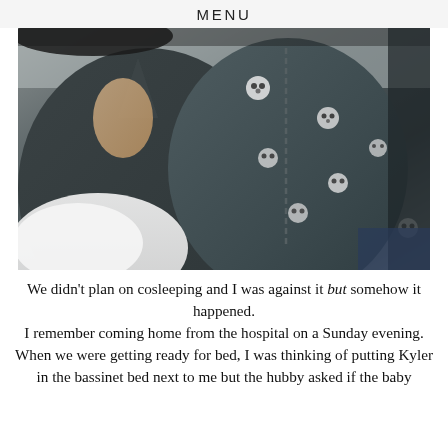MENU
[Figure (photo): A woman and a baby lying together, both wearing dark grey clothing with bear/panda print pattern. The baby appears to be in a grey zip-up onesie with animal face prints.]
We didn't plan on cosleeping and I was against it but somehow it happened. I remember coming home from the hospital on a Sunday evening. When we were getting ready for bed, I was thinking of putting Kyler in the bassinet bed next to me but the hubby asked if the baby